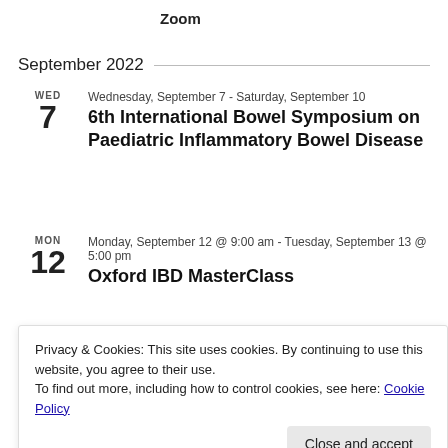Zoom
September 2022
WED 7
Wednesday, September 7 - Saturday, September 10
6th International Bowel Symposium on Paediatric Inflammatory Bowel Disease
MON 12
Monday, September 12 @ 9:00 am - Tuesday, September 13 @ 5:00 pm
Oxford IBD MasterClass
SAT 16
Friday, September 16 @ 8:30 am - 4:30 pm
Nutrition and Intestinal Failure Working Group National Intestinal Failure Network Annual Meeting
Privacy & Cookies: This site uses cookies. By continuing to use this website, you agree to their use. To find out more, including how to control cookies, see here: Cookie Policy
Close and accept
FRI
Friday, September 16 @ 1:00 pm - 2:00 pm